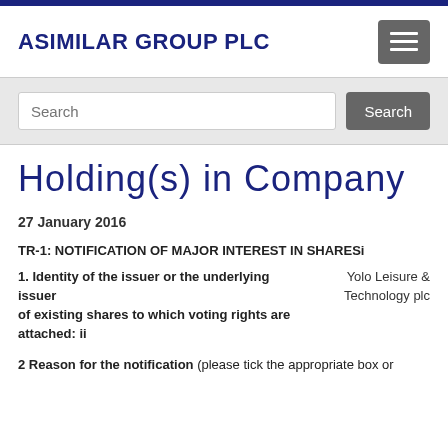ASIMILAR GROUP PLC
Holding(s) in Company
27 January 2016
TR-1: NOTIFICATION OF MAJOR INTEREST IN SHARESi
1. Identity of the issuer or the underlying issuer of existing shares to which voting rights are attached: ii	Yolo Leisure & Technology plc
2 Reason for the notification (please tick the appropriate box or